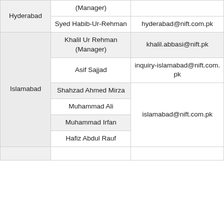| City | Name | Email |
| --- | --- | --- |
| Hyderabad | (Manager) |  |
| Hyderabad | Syed Habib-Ur-Rehman | hyderabad@nift.com.pk |
| Islamabad | Khalil Ur Rehman (Manager) | khalil.abbasi@nift.pk |
| Islamabad | Asif Sajjad | inquiry-islamabad@nift.com.pk |
| Islamabad | Shahzad Ahmed Mirza | islamabad@nift.com.pk |
| Islamabad | Muhammad Ali | islamabad@nift.com.pk |
| Islamabad | Muhammad Irfan | islamabad@nift.com.pk |
| Islamabad | Hafiz Abdul Rauf | islamabad@nift.com.pk |